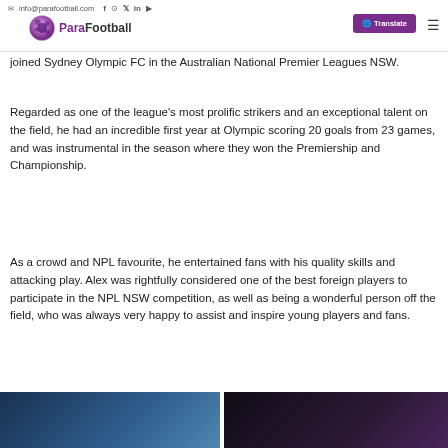info@parafootball.com | ParaFootball | Translate
joined Sydney Olympic FC in the Australian National Premier Leagues NSW.
Regarded as one of the league's most prolific strikers and an exceptional talent on the field, he had an incredible first year at Olympic scoring 20 goals from 23 games, and was instrumental in the season where they won the Premiership and Championship.
As a crowd and NPL favourite, he entertained fans with his quality skills and attacking play. Alex was rightfully considered one of the best foreign players to participate in the NPL NSW competition, as well as being a wonderful person off the field, who was always very happy to assist and inspire young players and fans.
[Figure (photo): Photo of crowd/audience at a sports event, left image]
[Figure (photo): Photo of people at a sports event, right image, darker tones with purple hues]